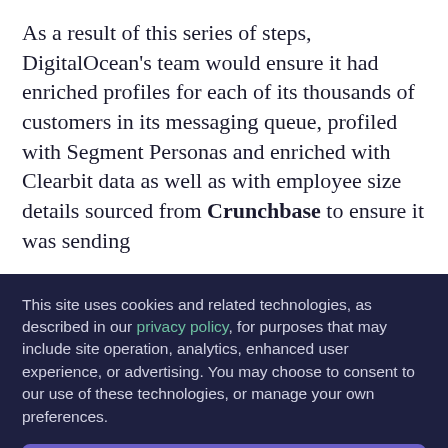As a result of this series of steps, DigitalOcean's team would ensure it had enriched profiles for each of its thousands of customers in its messaging queue, profiled with Segment Personas and enriched with Clearbit data as well as with employee size details sourced from Crunchbase to ensure it was sending
This site uses cookies and related technologies, as described in our privacy policy, for purposes that may include site operation, analytics, enhanced user experience, or advertising. You may choose to consent to our use of these technologies, or manage your own preferences.
Manage Settings
Accept
Decline All